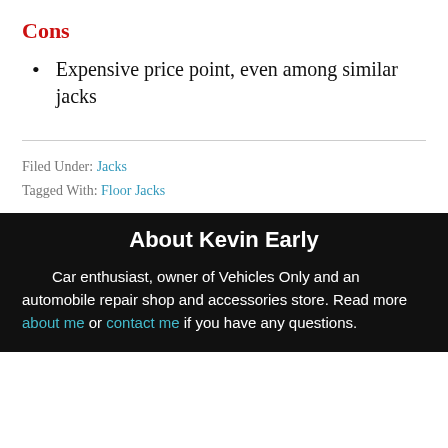Cons
Expensive price point, even among similar jacks
Filed Under: Jacks
Tagged With: Floor Jacks
About Kevin Early
Car enthusiast, owner of Vehicles Only and an automobile repair shop and accessories store. Read more about me or contact me if you have any questions.